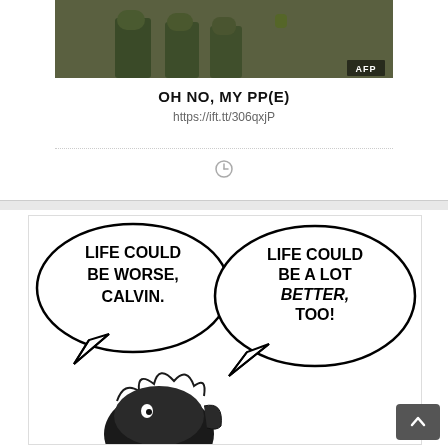[Figure (photo): Photo of military/camouflage-clad figures, AFP watermark in bottom right]
OH NO, MY PP(E)
https://ift.tt/306qxjP
[Figure (illustration): Calvin and Hobbes comic strip panel showing two speech bubbles: 'LIFE COULD BE WORSE, CALVIN.' and 'LIFE COULD BE A LOT BETTER, TOO!' with Calvin's head visible at bottom]